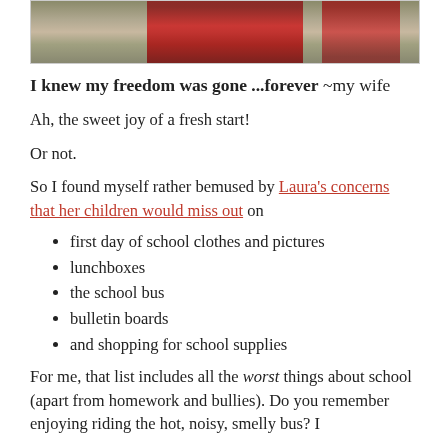[Figure (photo): Partial photo showing people in red plaid/checked clothing against a blurred background]
I knew my freedom was gone ...forever ~my wife
Ah, the sweet joy of a fresh start!
Or not.
So I found myself rather bemused by Laura's concerns that her children would miss out on
first day of school clothes and pictures
lunchboxes
the school bus
bulletin boards
and shopping for school supplies
For me, that list includes all the worst things about school (apart from homework and bullies). Do you remember enjoying riding the hot, noisy, smelly bus? I